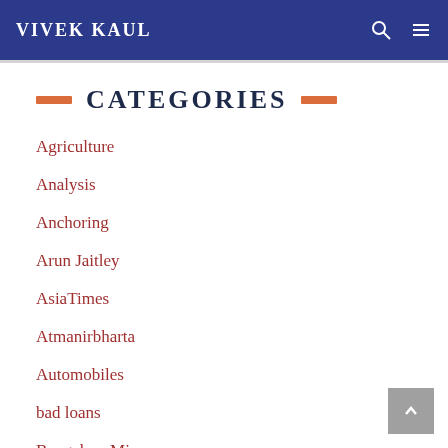VIVEK KAUL
CATEGORIES
Agriculture
Analysis
Anchoring
Arun Jaitley
AsiaTimes
Atmanirbharta
Automobiles
bad loans
Bangalore Mirror
Banking